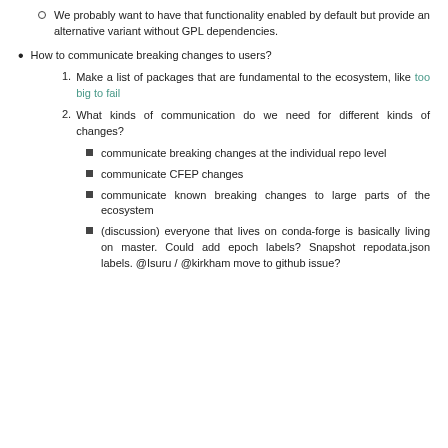We probably want to have that functionality enabled by default but provide an alternative variant without GPL dependencies.
How to communicate breaking changes to users?
Make a list of packages that are fundamental to the ecosystem, like too big to fail
What kinds of communication do we need for different kinds of changes?
communicate breaking changes at the individual repo level
communicate CFEP changes
communicate known breaking changes to large parts of the ecosystem
(discussion) everyone that lives on conda-forge is basically living on master. Could add epoch labels? Snapshot repodata.json labels. @Isuru / @kirkham move to github issue?